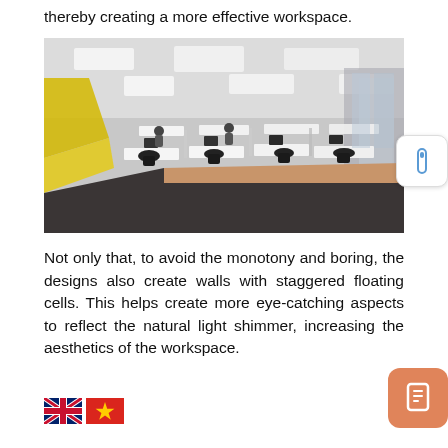thereby creating a more effective workspace.
[Figure (photo): Open-plan office space with white workstations, black chairs, and yellow accent walls. Bright ceiling lights illuminate rows of desks with computers.]
Not only that, to avoid the monotony and boring, the designs also create walls with staggered floating cells. This helps create more eye-catching aspects to reflect the natural light shimmer, increasing the aesthetics of the workspace.
[Figure (illustration): UK and Vietnamese flag icons at bottom left]
[Figure (other): Orange rounded square button with phone/bookmark icon at bottom right]